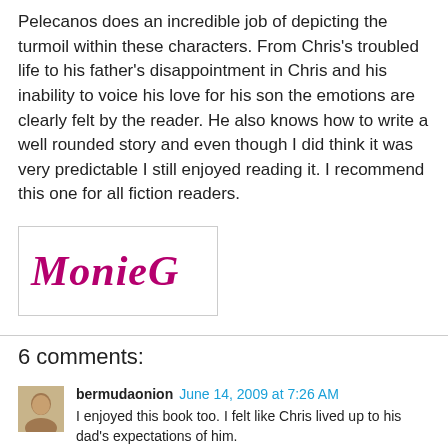Pelecanos does an incredible job of depicting the turmoil within these characters. From Chris's troubled life to his father's disappointment in Chris and his inability to voice his love for his son the emotions are clearly felt by the reader. He also knows how to write a well rounded story and even though I did think it was very predictable I still enjoyed reading it. I recommend this one for all fiction readers.
[Figure (logo): MonieG logo in bold italic magenta/dark pink serif font inside a bordered box]
6 comments:
bermudaonion June 14, 2009 at 7:26 AM
I enjoyed this book too. I felt like Chris lived up to his dad's expectations of him.